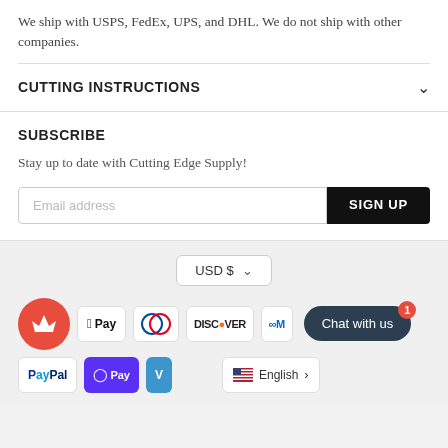We ship with USPS, FedEx, UPS, and DHL. We do not ship with other companies.
CUTTING INSTRUCTIONS
SUBSCRIBE
Stay up to date with Cutting Edge Supply!
[Figure (screenshot): Email address input field with SIGN UP button]
[Figure (screenshot): Footer with USD currency selector, payment icons (Apple Pay, Diners Club, Discover, Meta Pay, PayPal, Shop Pay, Venmo), chat widget, and English language selector]